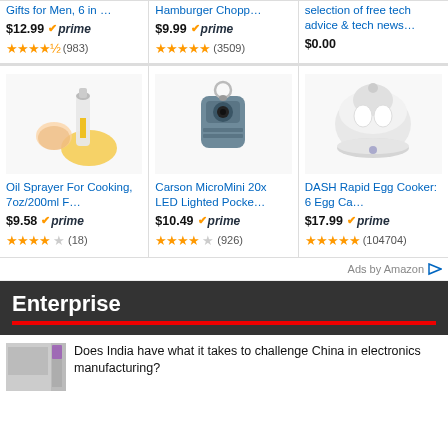[Figure (other): Amazon ad product grid top row - 3 products]
[Figure (other): Amazon ad product grid bottom row - 3 products with images: Oil Sprayer, Carson MicroMini, DASH Rapid Egg Cooker]
Ads by Amazon
Enterprise
Does India have what it takes to challenge China in electronics manufacturing?